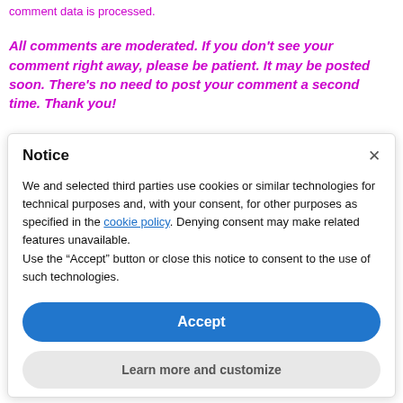comment data is processed.
All comments are moderated. If you don't see your comment right away, please be patient. It may be posted soon. There's no need to post your comment a second time. Thank you!
Notice
We and selected third parties use cookies or similar technologies for technical purposes and, with your consent, for other purposes as specified in the cookie policy. Denying consent may make related features unavailable.
Use the “Accept” button or close this notice to consent to the use of such technologies.
Accept
Learn more and customize